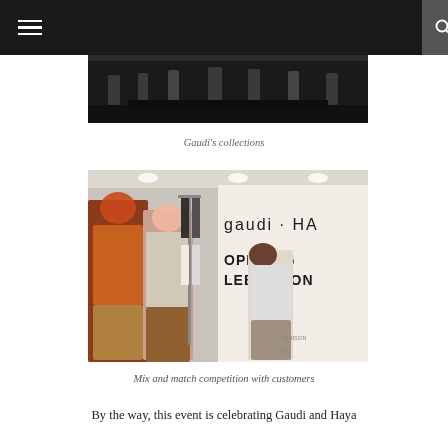[Figure (photo): Fashion runway photo showing models and audience, dark scene with a black catwalk]
Gaudi's collections
[Figure (photo): Mix and match fashion event at a Gaudi store opening celebration. People browsing garments on a rack. A banner reads 'gaudi · HA OPENING ELEBRATION']
Mix and match competition with customers
By the way, this event is celebrating Gaudi and Haya